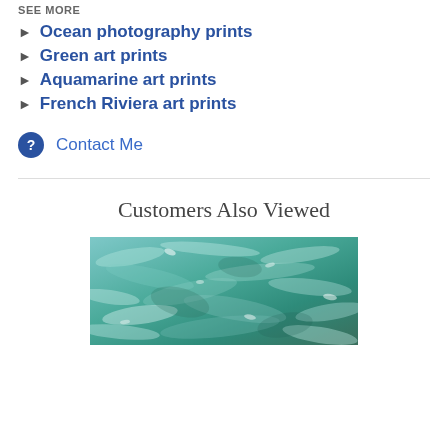SEE MORE
Ocean photography prints
Green art prints
Aquamarine art prints
French Riviera art prints
Contact Me
Customers Also Viewed
[Figure (photo): Ocean water surface with turquoise and teal colors, rippling water texture]